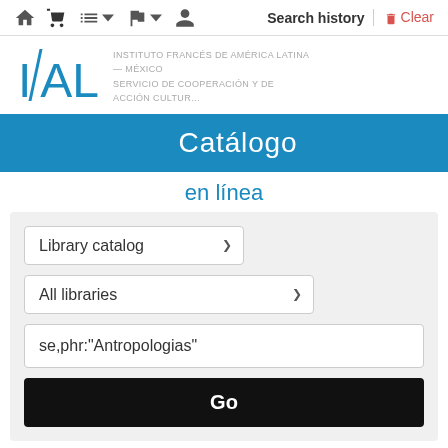Search history | Clear
[Figure (logo): IFAL logo — Instituto Francés de América Latina — México, Servicio de Cooperación y de Acción Cultural]
Catálogo
en línea
Library catalog dropdown, All libraries dropdown, search input: se,phr:"Antropologias", Go button
Advanced search | Tag cloud | Libraries